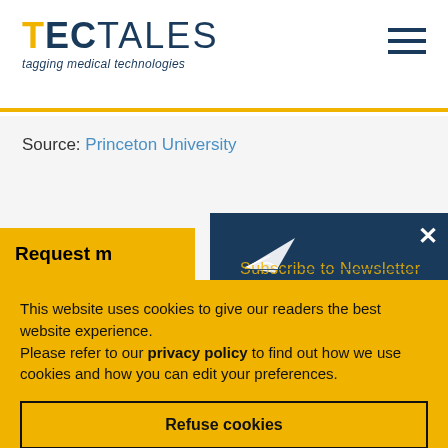TECTALES — tagging medical technologies
Source: Princeton University
Request m[ore information]
Subscribe to Newsletter
This website uses cookies to give our readers the best website experience.
Please refer to our privacy policy to find out how we use cookies and how you can edit your preferences.
Refuse cookies
Accept cookies